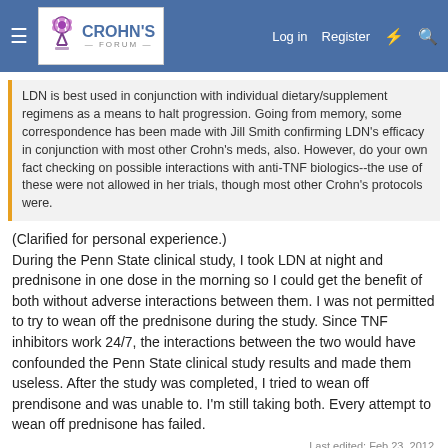Crohn's Forum — Log in  Register
LDN is best used in conjunction with individual dietary/supplement regimens as a means to halt progression. Going from memory, some correspondence has been made with Jill Smith confirming LDN's efficacy in conjunction with most other Crohn's meds, also. However, do your own fact checking on possible interactions with anti-TNF biologics--the use of these were not allowed in her trials, though most other Crohn's protocols were.
(Clarified for personal experience.) During the Penn State clinical study, I took LDN at night and prednisone in one dose in the morning so I could get the benefit of both without adverse interactions between them. I was not permitted to try to wean off the prednisone during the study. Since TNF inhibitors work 24/7, the interactions between the two would have confounded the Penn State clinical study results and made them useless. After the study was completed, I tried to wean off prendisone and was unable to. I'm still taking both. Every attempt to wean off prednisone has failed.
Last edited: Feb 23, 2012